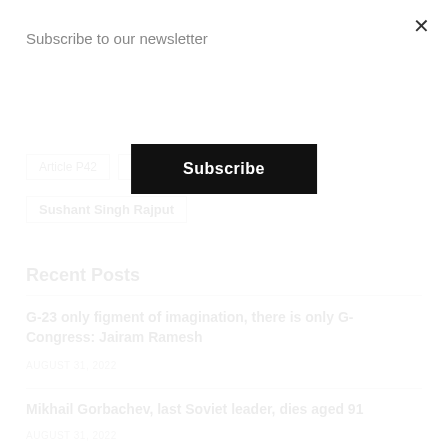Subscribe to our newsletter
Subscribe
Article P42
Supreme Court
Sushant Singh Rajput
Recent Posts
G-23 only figment of imagination, there is only G-Congress: Jairam Ramesh
AUGUST 31, 2022
Mikhail Gorbachev, last Soviet leader, dies aged 91
AUGUST 31, 2022